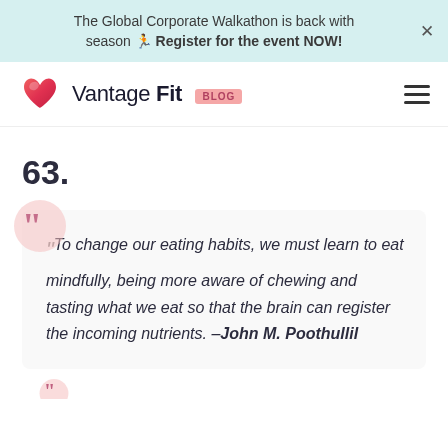The Global Corporate Walkathon is back with season 🏃 Register for the event NOW!
[Figure (logo): Vantage Fit Blog logo with heart icon]
63.
"To change our eating habits, we must learn to eat mindfully, being more aware of chewing and tasting what we eat so that the brain can register the incoming nutrients. -John M. Poothullil"